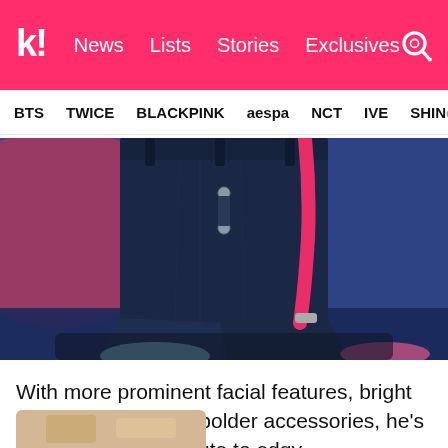k! News  Lists  Stories  Exclusives
BTS  TWICE  BLACKPINK  aespa  NCT  IVE  SHINee
[Figure (photo): Close-up photo of a person on stage wearing dark navy denim jeans with pink suspenders hanging loose, colorful stage lighting in background]
With more prominent facial features, bright blue hair color, and bolder accessories, he’s moved away from cute to edgy.
[Figure (photo): Partial bottom peek of another photo, showing light golden/beige tones]